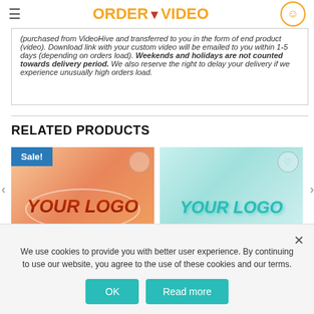ORDER YOUR VIDEO
(purchased from VideoHive and transferred to you in the form of end product (video). Download link with your custom video will be emailed to you within 1-5 days (depending on orders load). Weekends and holidays are not counted towards delivery period. We also reserve the right to delay your delivery if we experience unusually high orders load.
RELATED PRODUCTS
[Figure (screenshot): Product thumbnail showing orange gradient background with YOUR LOGO text in red/brown italic, Sale! badge in blue, and optional text or URL here below]
[Figure (screenshot): Product thumbnail showing teal/mint gradient background with YOUR LOGO text in 3D teal style, heart wishlist button, and small text or your URL here below]
We use cookies to provide you with better user experience. By continuing to use our website, you agree to the use of these cookies and our terms.